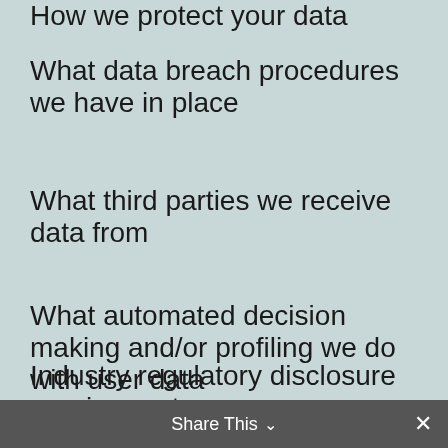How we protect your data
What data breach procedures we have in place
What third parties we receive data from
What automated decision making and/or profiling we do with user data
Industry regulatory disclosure requirements
Share This ✕